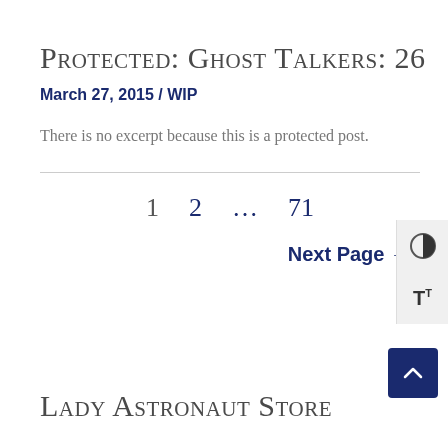Protected: Ghost Talkers: 26
March 27, 2015 / WIP
There is no excerpt because this is a protected post.
1   2   …   71
Next Page →
Lady Astronaut Store